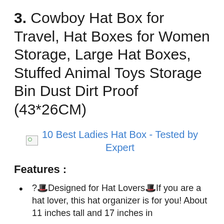3. Cowboy Hat Box for Travel, Hat Boxes for Women Storage, Large Hat Boxes, Stuffed Animal Toys Storage Bin Dust Dirt Proof (43*26CM)
[Figure (other): Broken image placeholder with link: 10 Best Ladies Hat Box - Tested by Expert]
Features :
?🎩Designed for Hat Lovers🎩If you are a hat lover, this hat organizer is for you! About 11 inches tall and 17 inches in